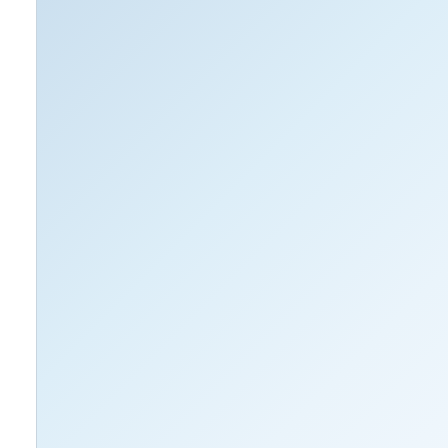At le prog act a that
Quo
Bu m
Ok,
Quo
Re ab
That